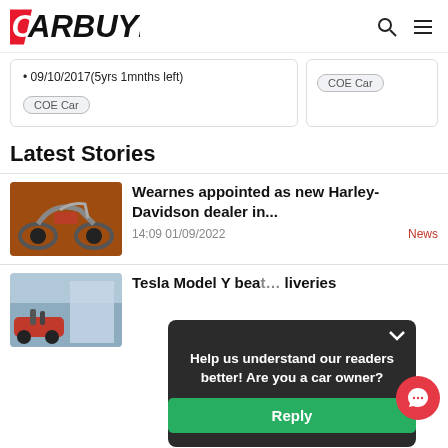CARBUYER
09/10/2017(5yrs 1mnths left)
COE Car
COE Car
Latest Stories
[Figure (photo): Harley-Davidson motorcycle, dark red, close-up side view]
Wearnes appointed as new Harley-Davidson dealer in...
14:09 01/09/2022
News
[Figure (photo): Tesla car delivery scene, partial]
Tesla Model Y bea... liveries
Help us understand our readers better! Are you a car owner?
Reply